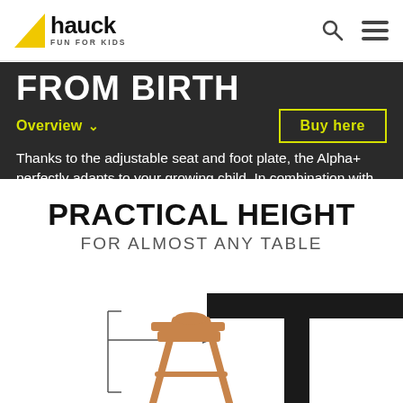hauck FUN FOR KIDS
FROM BIRTH
Overview
Buy here
Thanks to the adjustable seat and foot plate, the Alpha+ perfectly adapts to your growing child. In combination with the new-born module, you can also use it from birth.
PRACTICAL HEIGHT
FOR ALMOST ANY TABLE
[Figure (illustration): Diagram showing a wooden high chair placed next to a table, with an arrow indicating height adjustment compatibility]